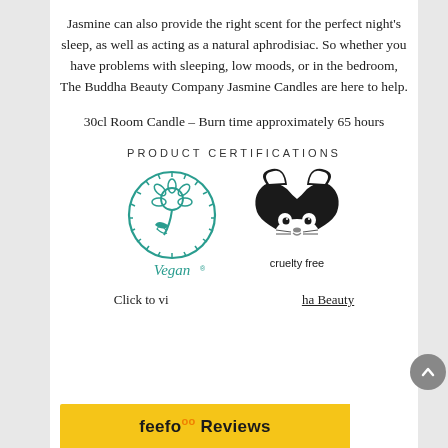Jasmine can also provide the right scent for the perfect night's sleep, as well as acting as a natural aphrodisiac. So whether you have problems with sleeping, low moods, or in the bedroom, The Buddha Beauty Company Jasmine Candles are here to help.
30cl Room Candle – Burn time approximately 65 hours
PRODUCT CERTIFICATIONS
[Figure (illustration): Two certification logos side by side: a Vegan Society sunflower logo with 'Vegan' text, and a Leaping Bunny cruelty free logo with 'cruelty free' text.]
Click to view the full range of Buddha Beauty